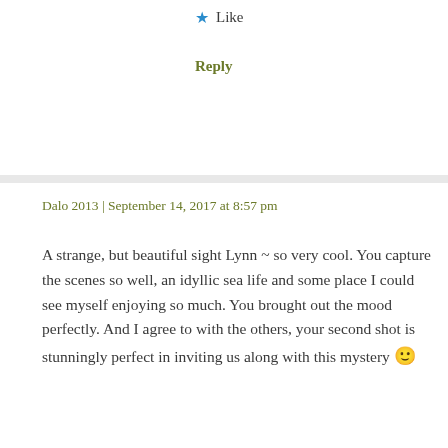Like
Reply
Dalo 2013 | September 14, 2017 at 8:57 pm
A strange, but beautiful sight Lynn ~ so very cool. You capture the scenes so well, an idyllic sea life and some place I could see myself enjoying so much. You brought out the mood perfectly. And I agree to with the others, your second shot is stunningly perfect in inviting us along with this mystery 🙂
Like
Reply
bluebrightly | September 15, 2017 at 3:21 pm
I'd love to read the story you might weave around